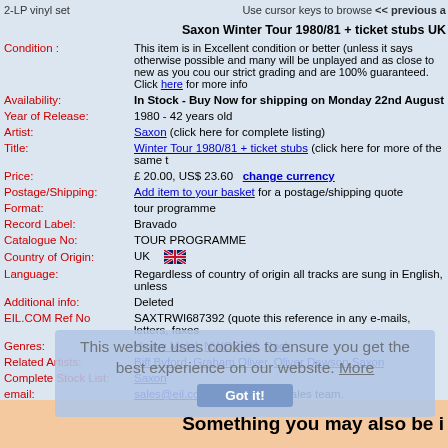2-LP vinyl set    Use cursor keys to browse << previous a
Saxon Winter Tour 1980/81 + ticket stubs UK
| Field | Value |
| --- | --- |
| Condition : | This item is in Excellent condition or better (unless it says otherwise possible and many will be unplayed and as close to new as you cou our strict grading and are 100% guaranteed. Click here for more info |
| Availability: | In Stock - Buy Now for shipping on Monday 22nd August |
| Year of Release: | 1980 - 42 years old |
| Artist: | Saxon (click here for complete listing) |
| Title: | Winter Tour 1980/81 + ticket stubs (click here for more of the same t |
| Price: | £ 20.00, US$ 23.60   change currency |
| Postage/Shipping: | Add item to your basket for a postage/shipping quote |
| Format: | tour programme |
| Record Label: | Bravado |
| Catalogue No: | TOUR PROGRAMME |
| Country of Origin: | UK 🇬🇧 |
| Language: | Regardless of country of origin all tracks are sung in English, unless |
| Additional info: | Deleted |
| EIL.COM Ref No | SAXTRWI687392 (quote this reference in any e-mails, letters, faxes |
| Genres: | Heavy Metal, NWOBHM, Rock |
| Related Artists: | Biff Byford, Graham Oliver, Oliver Dawson Saxon |
| Complete Stock List: | Saxon |
| email: | sales@eil.com to contact our sales team. |
| Alternative Names: | None |
| To order by phone: | Call 011-44-01474 815010 quoting EIL.COM reference number SAX |
Something you may also be i